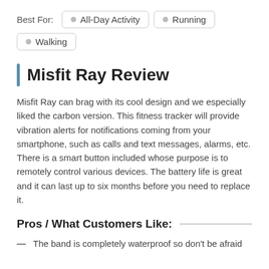Best For:
All-Day Activity
Running
Walking
Misfit Ray Review
Misfit Ray can brag with its cool design and we especially liked the carbon version. This fitness tracker will provide vibration alerts for notifications coming from your smartphone, such as calls and text messages, alarms, etc. There is a smart button included whose purpose is to remotely control various devices. The battery life is great and it can last up to six months before you need to replace it.
Pros / What Customers Like:
The band is completely waterproof so don't be afraid